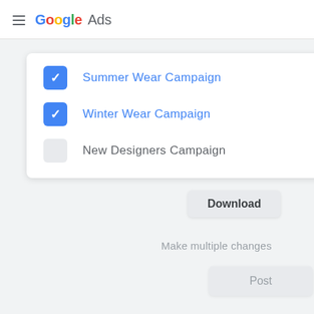Google Ads
Summer Wear Campaign (checked)
Winter Wear Campaign (checked)
New Designers Campaign (unchecked)
Download
Make multiple changes
Post